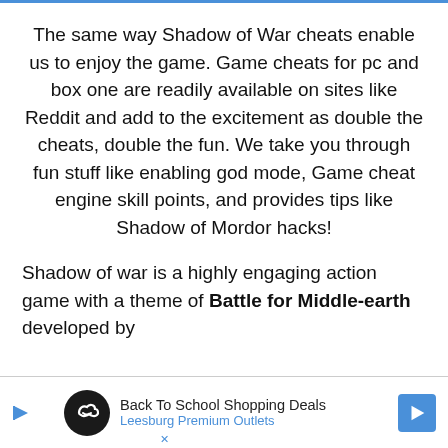The same way Shadow of War cheats enable us to enjoy the game. Game cheats for pc and box one are readily available on sites like Reddit and add to the excitement as double the cheats, double the fun. We take you through fun stuff like enabling god mode, Game cheat engine skill points, and provides tips like Shadow of Mordor hacks!
Shadow of war is a highly engaging action game with a theme of Battle for Middle-earth developed by
[Figure (other): Advertisement banner: Back To School Shopping Deals - Leesburg Premium Outlets, with infinity logo icon and blue navigation arrow]